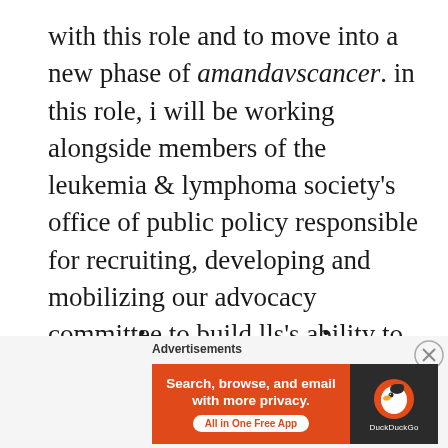with this role and to move into a new phase of amandavscancer. in this role, i will be working alongside members of the leukemia & lymphoma society's office of public policy responsible for recruiting, developing and mobilizing our advocacy committee to build lls's ability to influence change within public policy.
[Figure (other): Two bullet dots used as a section separator]
[Figure (other): Advertisement banner: DuckDuckGo - Search, browse, and email with more privacy. All in One Free App]